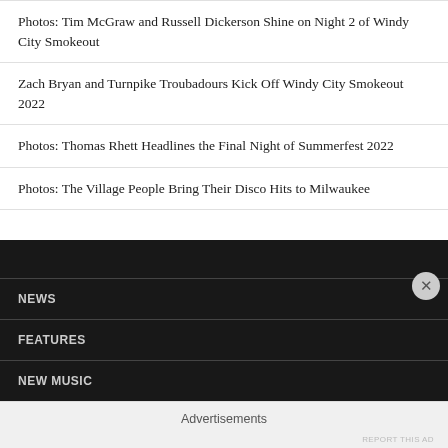Photos: Tim McGraw and Russell Dickerson Shine on Night 2 of Windy City Smokeout
Zach Bryan and Turnpike Troubadours Kick Off Windy City Smokeout 2022
Photos: Thomas Rhett Headlines the Final Night of Summerfest 2022
Photos: The Village People Bring Their Disco Hits to Milwaukee
NEWS
FEATURES
NEW MUSIC
Advertisements